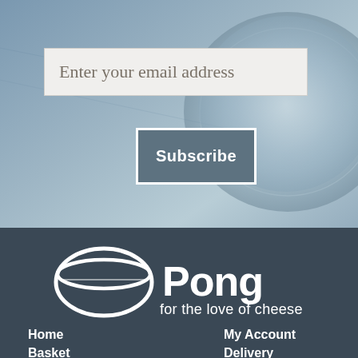[Figure (photo): Background photo of cheese or dairy equipment in blue-grey tones]
Enter your email address
Subscribe
[Figure (logo): Pong cheese logo - white hand-drawn cheese wheel icon with Pong text and tagline 'for the love of cheese']
Home
Basket
Checkout
Shop
My Account
Delivery
About Us
Privacy Policy